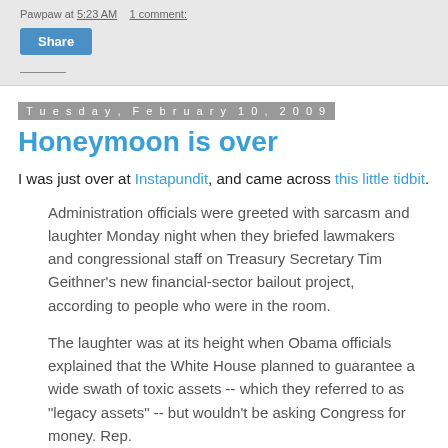Pawpaw at 5:23 AM   1 comment:
Share
Tuesday, February 10, 2009
Honeymoon is over
I was just over at Instapundit, and came across this little tidbit.
Administration officials were greeted with sarcasm and laughter Monday night when they briefed lawmakers and congressional staff on Treasury Secretary Tim Geithner's new financial-sector bailout project, according to people who were in the room.
The laughter was at its height when Obama officials explained that the White House planned to guarantee a wide swath of toxic assets -- which they referred to as "legacy assets" -- but wouldn't be asking Congress for money. Rep.